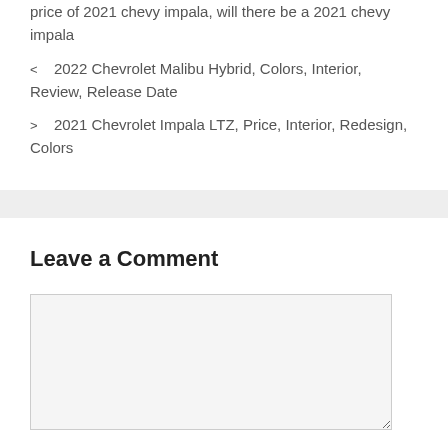price of 2021 chevy impala, will there be a 2021 chevy impala
< 2022 Chevrolet Malibu Hybrid, Colors, Interior, Review, Release Date
> 2021 Chevrolet Impala LTZ, Price, Interior, Redesign, Colors
Leave a Comment